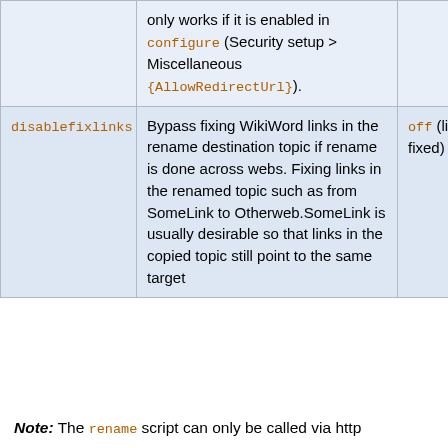| Parameter | Description | Default |
| --- | --- | --- |
|  | only works if it is enabled in configure (Security setup > Miscellaneous {AllowRedirectUrl}). |  |
| disablefixlinks | Bypass fixing WikiWord links in the rename destination topic if rename is done across webs. Fixing links in the renamed topic such as from SomeLink to Otherweb.SomeLink is usually desirable so that links in the copied topic still point to the same target | off (links are fixed) |
Note: The rename script can only be called via http